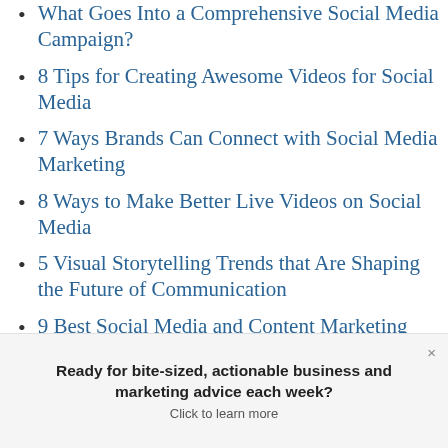What Goes Into a Comprehensive Social Media Campaign?
8 Tips for Creating Awesome Videos for Social Media
7 Ways Brands Can Connect with Social Media Marketing
8 Ways to Make Better Live Videos on Social Media
5 Visual Storytelling Trends that Are Shaping the Future of Communication
9 Best Social Media and Content Marketing Tips from Buffer
Ready for bite-sized, actionable business and marketing advice each week? Click to learn more